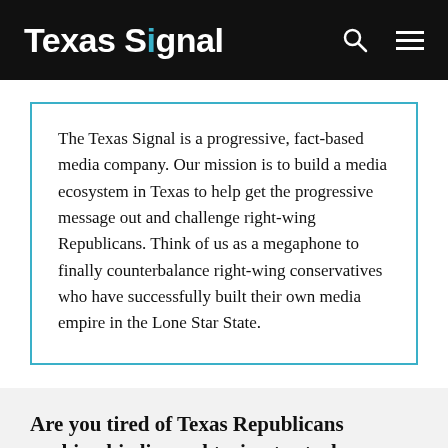Texas Signal
The Texas Signal is a progressive, fact-based media company. Our mission is to build a media ecosystem in Texas to help get the progressive message out and challenge right-wing Republicans. Think of us as a megaphone to finally counterbalance right-wing conservatives who have successfully built their own media empire in the Lone Star State.
Are you tired of Texas Republicans pushing big lies and trying to steal your